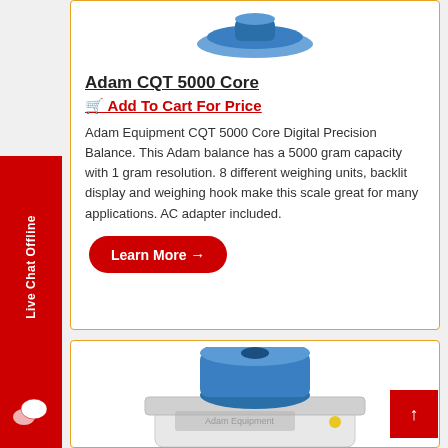[Figure (photo): Adam CQT 5000 Core digital precision balance scale - top portion visible at top of page]
Adam CQT 5000 Core
🛒 Add To Cart For Price
Adam Equipment CQT 5000 Core Digital Precision Balance. This Adam balance has a 5000 gram capacity with 1 gram resolution. 8 different weighing units, backlit display and weighing hook make this scale great for many applications. AC adapter included.
Learn More →
[Figure (photo): Second digital precision balance scale with blue circular top, white base - partially visible in lower card]
[Figure (other): Live Chat Offline sidebar button on left edge, red vertical banner with white text]
[Figure (other): Back to top red button with up arrow, bottom right corner]